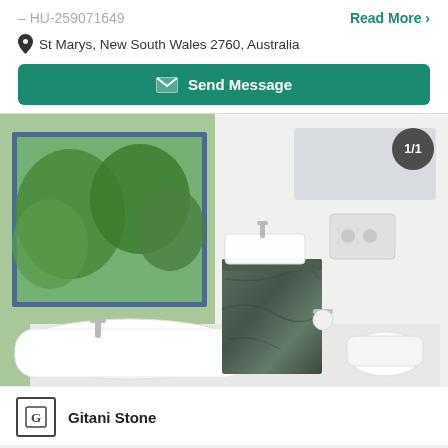– HU-259071649
Read More ›
St Marys, New South Wales 2760, Australia
Send Message
[Figure (photo): Modern bathroom with white freestanding bathtub, dark green marble vanity unit with basin, wall-mounted toilet, large window with garden view, and rectangular mirror. Badge showing 1/1 in top right corner.]
Gitani Stone